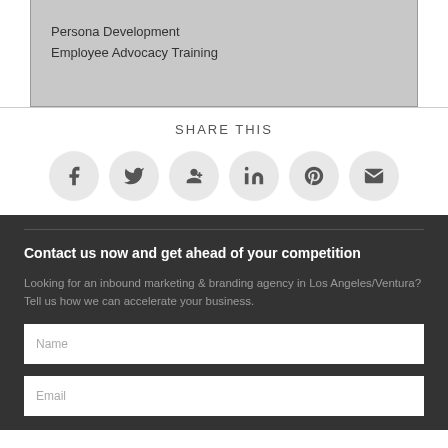Persona Development
Employee Advocacy Training
SHARE THIS
[Figure (infographic): Row of six social media sharing icons in gray circles: Facebook, Twitter, Google+, LinkedIn, Pinterest, Email]
Contact us now and get ahead of your competition
Looking for an inbound marketing & branding agency in Los Angeles/Ventura? Tell us how we can accelerate your business.
Name
Email